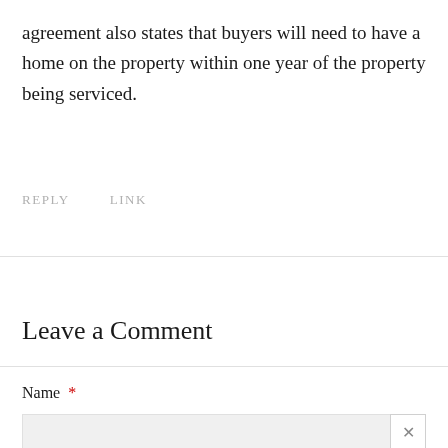agreement also states that buyers will need to have a home on the property within one year of the property being serviced.
REPLY   LINK
Leave a Comment
Name *
Email *